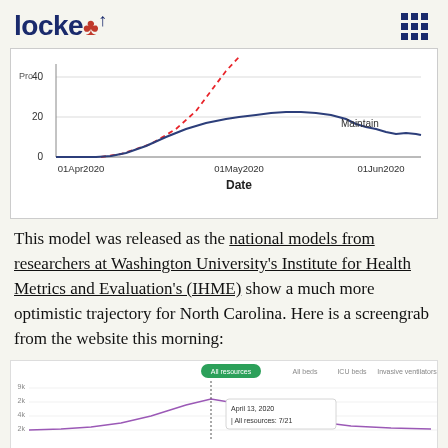locke
[Figure (continuous-plot): Line chart showing projected values from 01 Apr 2020 to 01 Jun 2020. Y-axis labeled 'Pro' with values 0, 20, 40. A solid dark blue line rises from near 0 in early April to a peak near 25 in mid-May then declines to about 17 by June. A dashed red line rises steeply from mid-April to above 40 by early May. Legend label 'Maintain' appears near the blue line. X-axis label: Date.]
This model was released as the national models from researchers at Washington University's Institute for Health Metrics and Evaluation's (IHME) show a much more optimistic trajectory for North Carolina. Here is a screengrab from the website this morning:
[Figure (screenshot): Screenshot of IHME website showing a chart for North Carolina hospital resource use. Tabs visible: All resources, All beds, ICU beds, Invasive ventilation. Chart shows purple line with peak around April 13, 2020. Tooltip shows 'All resources: 7/21'. Y-axis values visible: 9k, 2k, 4k, 2k. A vertical line marks peak date April 13, 2020.]